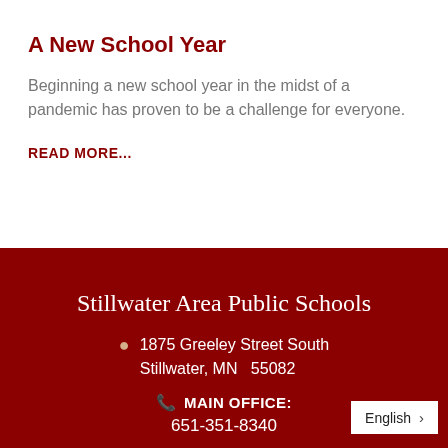A New School Year
Beginning a new school year in the midst of a pandemic has proven to be a challenge for everyone.
READ MORE...
Stillwater Area Public Schools
1875 Greeley Street South Stillwater, MN  55082
MAIN OFFICE: 651-351-8340
English >